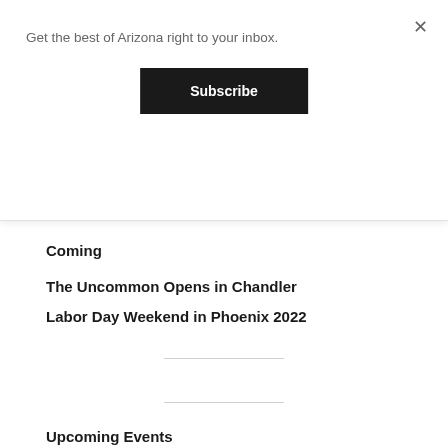Get the best of Arizona right to your inbox.
Subscribe
Coming
The Uncommon Opens in Chandler
Labor Day Weekend in Phoenix 2022
Upcoming Events